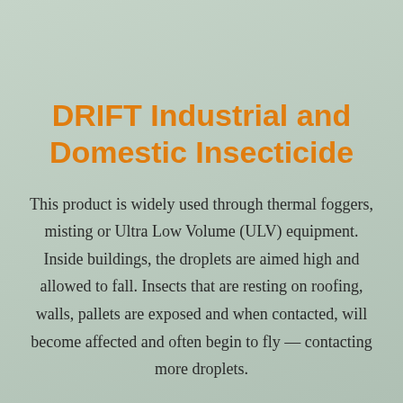DRIFT Industrial and Domestic Insecticide
This product is widely used through thermal foggers, misting or Ultra Low Volume (ULV) equipment. Inside buildings, the droplets are aimed high and allowed to fall. Insects that are resting on roofing, walls, pallets are exposed and when contacted, will become affected and often begin to fly — contacting more droplets.
ARVM A approval: 45251/30L/1103